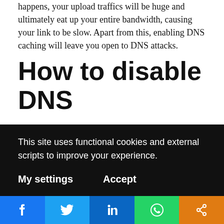happens, your upload traffics will be huge and ultimately eat up your entire bandwidth, causing your link to be slow. Apart from this, enabling DNS caching will leave you open to DNS attacks.
How to disable DNS
cache: ip dns set allow-remote-requests=no Keep default firewall rules on: Mikrotik router boards have default firewall settings that protect the router from external attacks. It is recommended that you keep these rules on. Some of the router...
This site uses functional cookies and external scripts to improve your experience.
My settings
Accept
Facebook Twitter LinkedIn WhatsApp Share